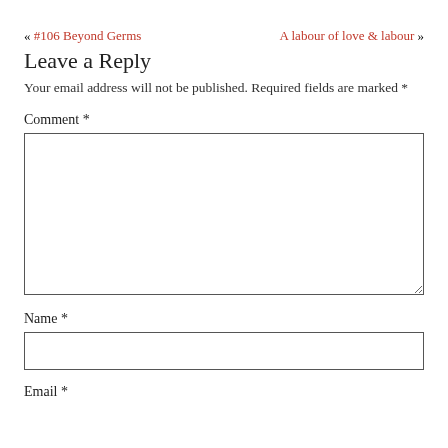« #106 Beyond Germs    A labour of love & labour »
Leave a Reply
Your email address will not be published. Required fields are marked *
Comment *
[Figure (other): Large textarea input box for comment]
Name *
[Figure (other): Single-line text input box for name]
Email *